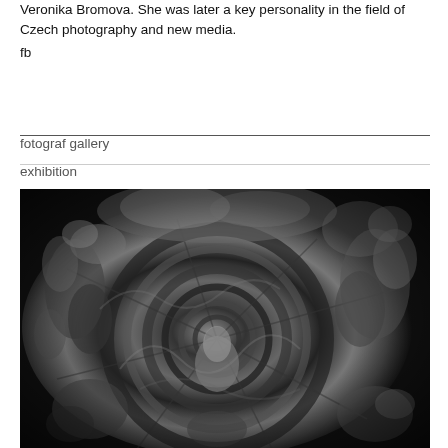Veronika Bromova. She was later a key personality in the field of Czech photography and new media.
fb
fotograf gallery
exhibition
[Figure (photo): Black and white surreal photomontage showing swirling, dreamlike composition with human figures, architectural elements, and abstract forms radiating from a central circular focal point.]